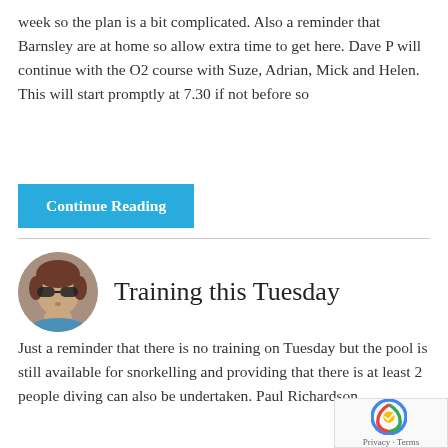week so the plan is a bit complicated. Also a reminder that Barnsley are at home so allow extra time to get here. Dave P will continue with the O2 course with Suze, Adrian, Mick and Helen. This will start promptly at 7.30 if not before so
Continue Reading
[Figure (photo): Circular avatar photo of a woman with short hair and sunglasses]
Training this Tuesday
Just a reminder that there is no training on Tuesday but the pool is still available for snorkelling and providing that there is at least 2 people diving can also be undertaken. Paul Richardson